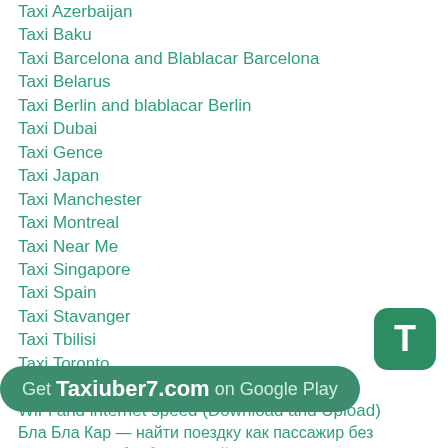Taxi Azerbaijan
Taxi Baku
Taxi Barcelona and Blablacar Barcelona
Taxi Belarus
Taxi Berlin and blablacar Berlin
Taxi Dubai
Taxi Gence
Taxi Japan
Taxi Manchester
Taxi Montreal
Taxi Near Me
Taxi Singapore
Taxi Spain
Taxi Stavanger
Taxi Tbilisi
Taxi Toronto
Terms and Conditions
WiFi and internet speed (Download and Upload)
Бла Бла Кар — найти поездку как пассажир без регистрации, блаблакар найти поездку как пассажир, Blablakar nayti poezdku kak passajir
Бла бла кар войти без регистрации, Блаблакар войти без регистрации без логина без пароля
бла бла кар украина найти поездку